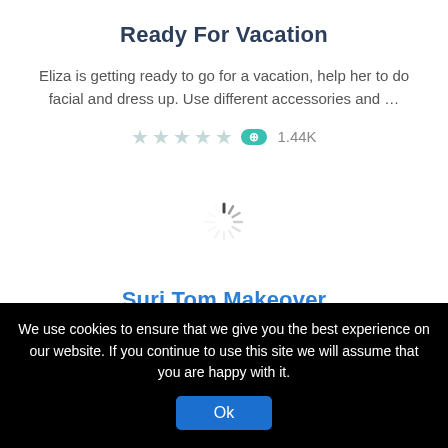Ready For Vacation
Eliza is getting ready to go for a vacation, help her to do facial and dress up. Use different accessories and …
[Figure (other): Loading spinner (animated loading indicator with radiating lines)]
Suri Tom Makeover
We use cookies to ensure that we give you the best experience on our website. If you continue to use this site we will assume that you are happy with it.